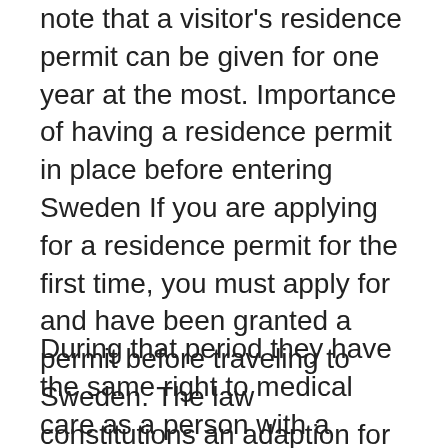note that a visitor's residence permit can be given for one year at the most. Importance of having a residence permit in place before entering Sweden If you are applying for a residence permit for the first time, you must apply for and have been granted a permit before traveling to Sweden. The law constitutions an adaption for Sweden's provisions on, among others, residence permits and family reunification to an EU minimum level where family reunification for subsidiary protection beneficiaries is not allowed at all, with the motivation that the stress the Swedish system was under justifies the separation of families.
During that period they have the same right to medical care as a person with a permanent residence permit. The person's family is eligible for